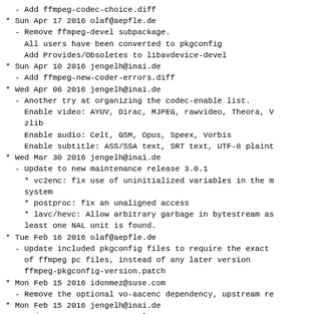- Add ffmpeg-codec-choice.diff
* Sun Apr 17 2016 olaf@aepfle.de
  - Remove ffmpeg-devel subpackage.
    All users have been converted to pkgconfig
    Add Provides/Obsoletes to libavdevice-devel
* Sun Apr 10 2016 jengelh@inai.de
  - Add ffmpeg-new-coder-errors.diff
* Wed Apr 06 2016 jengelh@inai.de
  - Another try at organizing the codec-enable list.
    Enable video: AYUV, Dirac, MJPEG, rawvideo, Theora, V
    zlib
    Enable audio: Celt, GSM, Opus, Speex, Vorbis
    Enable subtitle: ASS/SSA text, SRT text, UTF-8 plaint
* Wed Mar 30 2016 jengelh@inai.de
  - Update to new maintenance release 3.0.1
    * vc2enc: fix use of uninitialized variables in the m
    system
    * postproc: fix an unaligned access
    * lavc/hevc: Allow arbitrary garbage in bytestream as
    least one NAL unit is found.
* Tue Feb 16 2016 olaf@aepfle.de
  - Update included pkgconfig files to require the exact
    of ffmpeg pc files, instead of any later version
    ffmpeg-pkgconfig-version.patch
* Mon Feb 15 2016 idonmez@suse.com
  - Remove the optional vo-aacenc dependency, upstream re
* Mon Feb 15 2016 jengelh@inai.de
  - Update to new upstream release 3.0
    * New filters: extrastereo, ocr, alimiter, stereowide
    rubberband, tremolo, agate, chromakey, displace, and